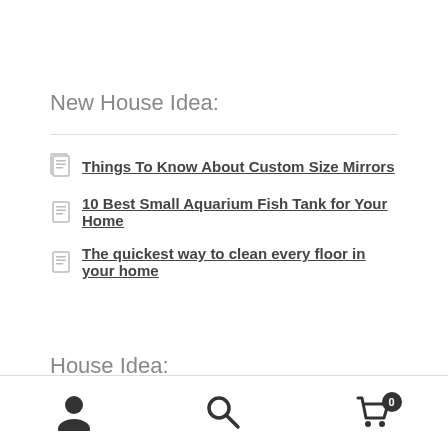New House Idea:
Things To Know About Custom Size Mirrors
10 Best Small Aquarium Fish Tank for Your Home
The quickest way to clean every floor in your home
House Idea:
Navigation bar with user icon, search icon, and cart with badge 0